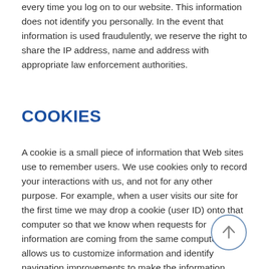every time you log on to our website. This information does not identify you personally. In the event that information is used fraudulently, we reserve the right to share the IP address, name and address with appropriate law enforcement authorities.
COOKIES
A cookie is a small piece of information that Web sites use to remember users. We use cookies only to record your interactions with us, and not for any other purpose. For example, when a user visits our site for the first time we may drop a cookie (user ID) onto that computer so that we know when requests for information are coming from the same computer. This allows us to customize information and identify navigation improvements to make the information easier to find. We don't